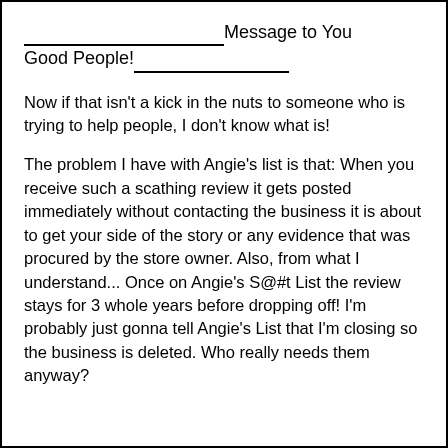________________________Message to You Good People!________________________
Now if that isn't a kick in the nuts to someone who is trying to help people, I don't know what is!
The problem I have with Angie's list is that: When you receive such a scathing review it gets posted immediately without contacting the business it is about to get your side of the story or any evidence that was procured by the store owner. Also, from what I understand... Once on Angie's S@#t List the review stays for 3 whole years before dropping off! I'm probably just gonna tell Angie's List that I'm closing so the business is deleted. Who really needs them anyway?